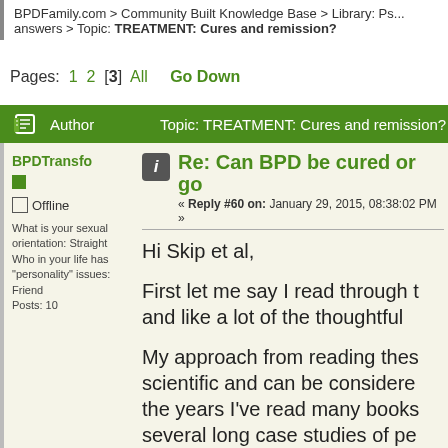BPDFamily.com > Community Built Knowledge Base > Library: Ps... answers > Topic: TREATMENT: Cures and remission?
Pages: 1 2 [3] All  Go Down
| Author | Topic: TREATMENT: Cures and remission? |
| --- | --- |
BPDTransfo
Re: Can BPD be cured or go...
« Reply #60 on: January 29, 2015, 08:38:02 PM »
Offline
What is your sexual orientation: Straight Who in your life has "personality" issues: Friend Posts: 10
Hi Skip et al,
First let me say I read through t... and like a lot of the thoughtful ...
My approach from reading thes... scientific and can be considere... the years I've read many books... several long case studies of pe... BPD. Some other examples wo...